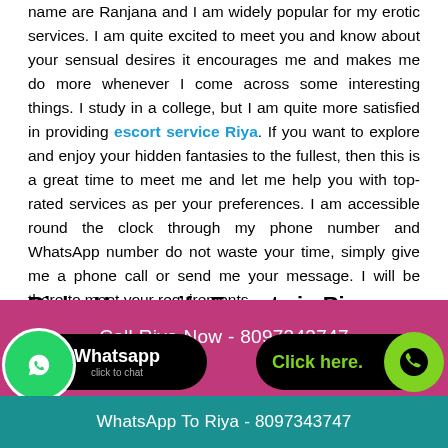name are Ranjana and I am widely popular for my erotic services. I am quite excited to meet you and know about your sensual desires it encourages me and makes me do more whenever I come across some interesting things. I study in a college, but I am quite more satisfied in providing escort service Riya. If you want to explore and enjoy your hidden fantasies to the fullest, then this is a great time to meet me and let me help you with top-rated services as per your preferences. I am accessible round the clock through my phone number and WhatsApp number do not waste your time, simply give me a phone call or send me your message. I will be there to meet your requirements.
Richa Housewife Escorts in Riya
Thank you for browsing my profile. I am quite excited to satisfy your sexual desires in the most sensual way. My name is richa,
[Figure (infographic): Pink/magenta footer bar with call-to-action. Text: 'Call Riya Now - 8097343747'. WhatsApp button on left with green circle icon and text 'Whatsapp click to chat'. Green 'Click here.' button on right with phone icon. Teal bar at bottom with text 'WhatsApp To Riya - 8097343747'.]